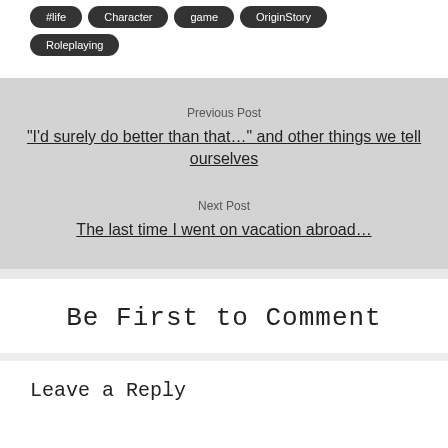#life
Character
game
OriginStory
Roleplaying
Previous Post
“I’d surely do better than that…” and other things we tell ourselves
Next Post
The last time I went on vacation abroad…
Be First to Comment
Leave a Reply